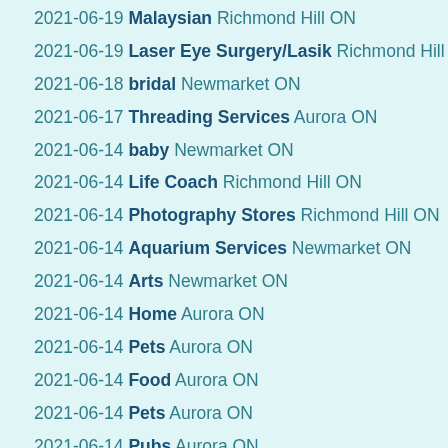2021-06-19 Malaysian Richmond Hill ON
2021-06-19 Laser Eye Surgery/Lasik Richmond Hill ON
2021-06-18 bridal Newmarket ON
2021-06-17 Threading Services Aurora ON
2021-06-14 baby Newmarket ON
2021-06-14 Life Coach Richmond Hill ON
2021-06-14 Photography Stores Richmond Hill ON
2021-06-14 Aquarium Services Newmarket ON
2021-06-14 Arts Newmarket ON
2021-06-14 Home Aurora ON
2021-06-14 Pets Aurora ON
2021-06-14 Food Aurora ON
2021-06-14 Pets Aurora ON
2021-06-14 Pubs Aurora ON
2021-06-13 Community Service/Non-Profit Newmarket ON
2021-06-13 Laundromat Aurora ON
2021-06-13 Keys Newmarket ON
2021-06-13 Juice Bars Newmarket ON
2021-06-13 Community Service/Non-Profit Newmarket ON
2021-06-13 Karate Aurora ON
2021-06-13 Bikes Aurora ON
2021-06-13 Gyms Aurora ON